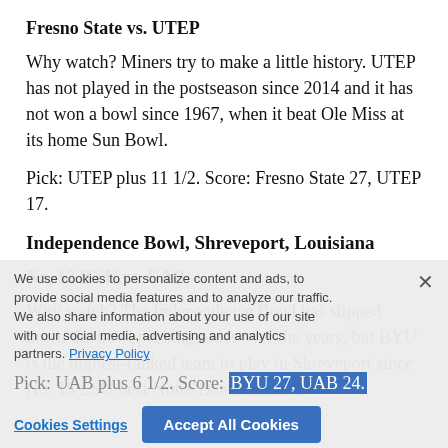Fresno State vs. UTEP
Why watch? Miners try to make a little history. UTEP has not played in the postseason since 2014 and it has not won a bowl since 1967, when it beat Ole Miss at its home Sun Bowl.
Pick: UTEP plus 11 1/2. Score: Fresno State 27, UTEP 17.
Independence Bowl, Shreveport, Louisiana
No. 12 BYU vs. UAB
Why watch? The Independence Bowl has slipped down the bowl pecking order over the years, but BYU is the highest-ranked team to play in Shreveport since No. 15 LSU beat Notre Dame in 1997.
Pick: UAB plus 6 1/2. Score: BYU 27, UAB 24.